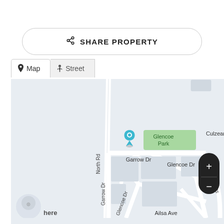[Figure (screenshot): Share Property button with share icon, rounded rectangle outline]
[Figure (map): Street map showing Garrow Dr, Glencoe Dr, North Rd, Glencoe Park label, Culzean Pl, Caithness Cres, Ailsa Ave, with a blue location pin marker and HERE maps attribution. Map tab and Street tab shown at top.]